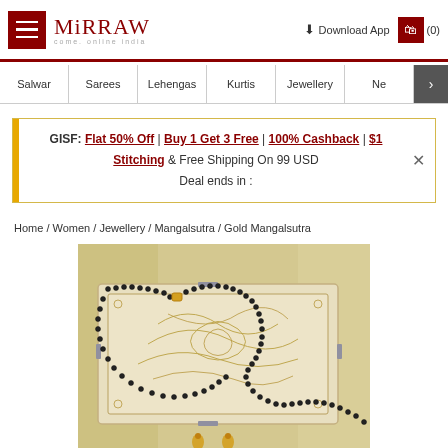Mirraw - Come, Online India | Download App | Cart (0)
Salwar
Sarees
Lehengas
Kurtis
Jewellery
GISF: Flat 50% Off | Buy 1 Get 3 Free | 100% Cashback | $1 Stitching & Free Shipping On 99 USD
Deal ends in :
Home / Women / Jewellery / Mangalsutra / Gold Mangalsutra
[Figure (photo): A gold mangalsutra (black bead necklace with gold clasp) draped over a decorative carved wooden jewelry box, with golden fabric in the background. Small gold earrings visible at the bottom.]